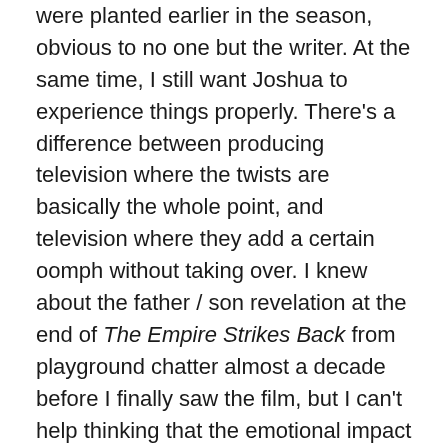were planted earlier in the season, obvious to no one but the writer. At the same time, I still want Joshua to experience things properly. There’s a difference between producing television where the twists are basically the whole point, and television where they add a certain oomph without taking over. I knew about the father / son revelation at the end of The Empire Strikes Back from playground chatter almost a decade before I finally saw the film, but I can’t help thinking that the emotional impact of this moment would have been far more powerful if I’d seen it as it’s supposed to be seen. When you actually get to that moment, even if you know what’s coming, it’s overwhelmingly powerful, simply because it’s the last thing you expect.
Terminator 2 is another example. Its script was wasted on the audiences who flocked to packed cinemas in the